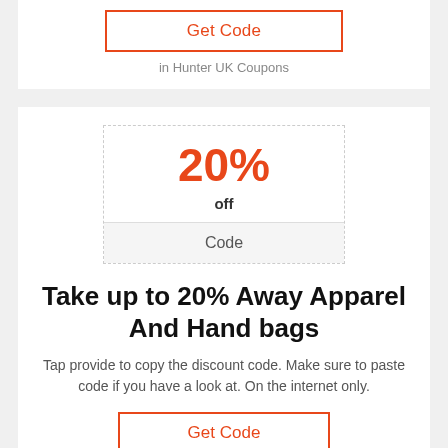Get Code
in Hunter UK Coupons
[Figure (other): Coupon box showing 20% off discount with Code button]
Take up to 20% Away Apparel And Hand bags
Tap provide to copy the discount code. Make sure to paste code if you have a look at. On the internet only.
Get Code
in Hunter UK Coupons